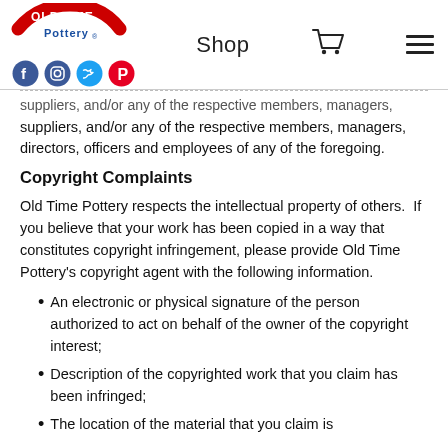Old Time Pottery — Shop
suppliers, and/or any of the respective members, managers, directors, officers and employees of any of the foregoing.
Copyright Complaints
Old Time Pottery respects the intellectual property of others.  If you believe that your work has been copied in a way that constitutes copyright infringement, please provide Old Time Pottery's copyright agent with the following information.
An electronic or physical signature of the person authorized to act on behalf of the owner of the copyright interest;
Description of the copyrighted work that you claim has been infringed;
The location of the material that you claim is